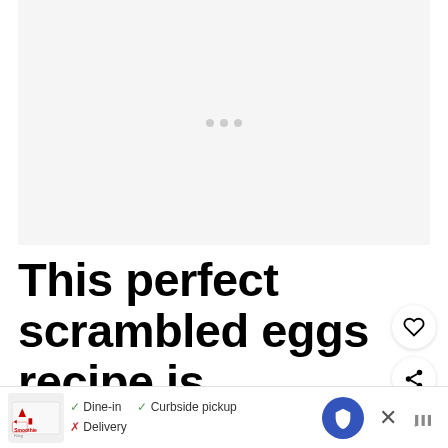[Figure (photo): Large image placeholder area with light gray background and three small gray dots in center, representing a loading or blank image for a scrambled eggs recipe article]
This perfect scrambled eggs recipe is...
Ve...rian, dairy free (with milk), and gluten free.